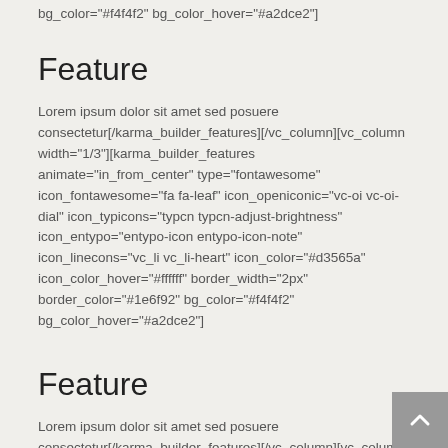bg_color="#f4f4f2" bg_color_hover="#a2dce2"]
Feature
Lorem ipsum dolor sit amet sed posuere consectetur[/karma_builder_features][/vc_column][vc_column width="1/3"][karma_builder_features animate="in_from_center" type="fontawesome" icon_fontawesome="fa fa-leaf" icon_openiconic="vc-oi vc-oi-dial" icon_typicons="typcn typcn-adjust-brightness" icon_entypo="entypo-icon entypo-icon-note" icon_linecons="vc_li vc_li-heart" icon_color="#d3565a" icon_color_hover="#ffffff" border_width="2px" border_color="#1e6f92" bg_color="#f4f4f2" bg_color_hover="#a2dce2"]
Feature
Lorem ipsum dolor sit amet sed posuere consectetur[/karma_builder_features][/vc_column][vc_column width="1/3"][karma_builder_features animate="in_from_right" type="fontawesome" icon_fontawesome="fa fa-star"